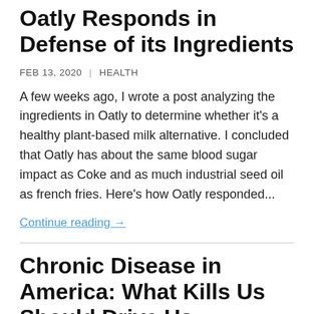Oatly Responds in Defense of its Ingredients
FEB 13, 2020  |  HEALTH
A few weeks ago, I wrote a post analyzing the ingredients in Oatly to determine whether it's a healthy plant-based milk alternative. I concluded that Oatly has about the same blood sugar impact as Coke and as much industrial seed oil as french fries. Here's how Oatly responded...
Continue reading →
Chronic Disease in America: What Kills Us Should Drive Us
FEB 20, 2020  |  HEALTH